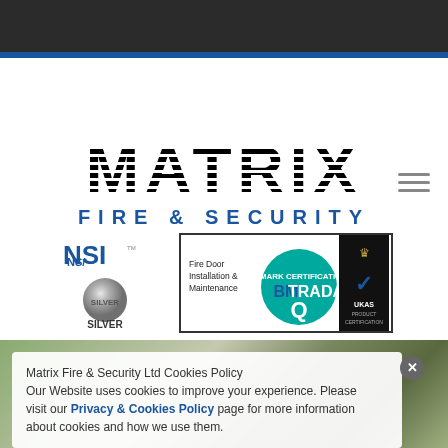[Figure (logo): Matrix Fire & Security company logo with MATRIX in large striped bold letters and FIRE & SECURITY in blue below]
[Figure (logo): NSI Silver certification badge with checkmark logo]
[Figure (logo): BM TRADA Q-Mark Certification for Fire Door Installation & Maintenance with UKAS Product Certification badge]
[Figure (photo): Photo of security fencing/perimeter with trees and sky in background]
Matrix Fire & Security Ltd Cookies Policy
Our Website uses cookies to improve your experience. Please visit our Privacy & Cookies Policy page for more information about cookies and how we use them.